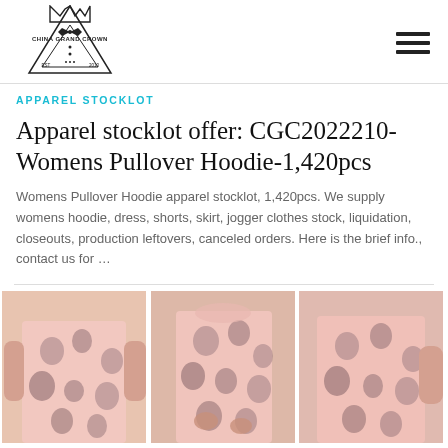[Figure (logo): China Grand Crown logo with crown emblem, bowtie, and triangular frame with EST 2010 text]
APPAREL STOCKLOT
Apparel stocklot offer: CGC2022210-Womens Pullover Hoodie-1,420pcs
Womens Pullover Hoodie apparel stocklot, 1,420pcs. We supply womens hoodie, dress, shorts, skirt, jogger clothes stock, liquidation, closeouts, production leftovers, canceled orders. Here is the brief info., contact us for …
[Figure (photo): Three photos of women wearing pink floral patterned dresses/garments, shown from torso down]